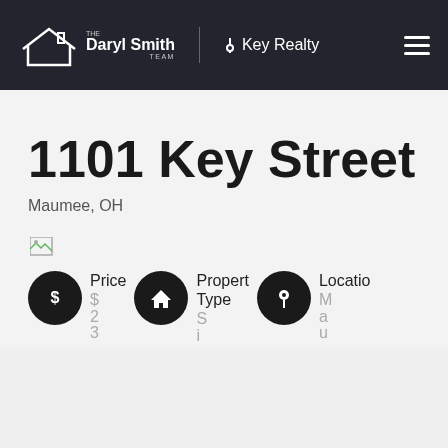The Daryl Smith Team | Key Realty
1101 Key Street
Maumee, OH
[Figure (other): Broken/loading image placeholder]
Price  $2 3   Property Type  S i   Location  M a u
[Figure (infographic): Three circular icons: dollar sign (Price), house (Property Type), map pin (Location) with partial values shown below: $2 3..., S i..., M a u...]